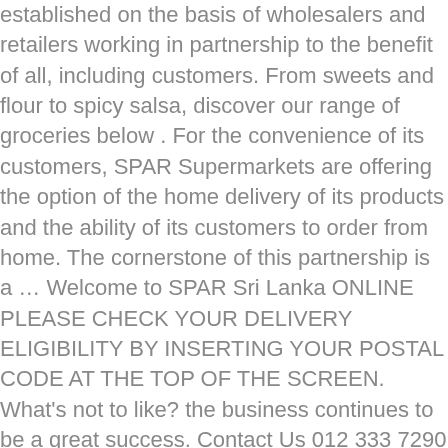established on the basis of wholesalers and retailers working in partnership to the benefit of all, including customers. From sweets and flour to spicy salsa, discover our range of groceries below . For the convenience of its customers, SPAR Supermarkets are offering the option of the home delivery of its products and the ability of its customers to order from home. The cornerstone of this partnership is a … Welcome to SPAR Sri Lanka ONLINE PLEASE CHECK YOUR DELIVERY ELIGIBILITY BY INSERTING YOUR POSTAL CODE AT THE TOP OF THE SCREEN. What's not to like? the business continues to be a great success. Contact Us 012 333 7290 queenswood.orders@retail.spar.co.za Shop No 21 Queens Corner 1166 Soutpansberg Road Cnr Soutpansberg Rd & Stead Av Store Finder Find a SPAR store near you. To further reduce direct contact and to simplify shopping for risk groups, SPAR Austria also recommends paying with voucher cards that can be purchased and redeemed at INTERSPAR, EUROSPAR, and SPAR stores. Local business. Across the